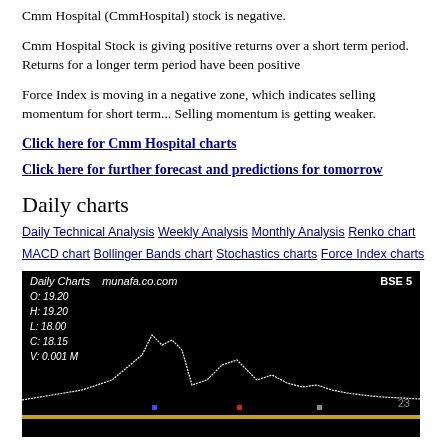Cmm Hospital (CmmHospital) stock is negative.
Cmm Hospital Stock is giving positive returns over a short term period. Returns for a longer term period have been positive
Force Index is moving in a negative zone, which indicates selling momentum for short term... Selling momentum is getting weaker.
Click here for Cmm Hospital charts
Click here for further forecast and predictions for tomorrow
Daily charts
Daily Technical Analysis Weekly Analysis Monthly Analysis Renko chart MACD chart Bollinger Bands chart Stochastics charts Force Index charts
[Figure (screenshot): Daily Charts from munafa.co.com showing BSE stock chart for CmmHospital. OHLCV data: O: 19.20, H: 19.20, L: 18.00, C: 18.15, V: 0.001 M. White line chart on black background with a gold horizontal line near the bottom. Number 23 shown on right side.]